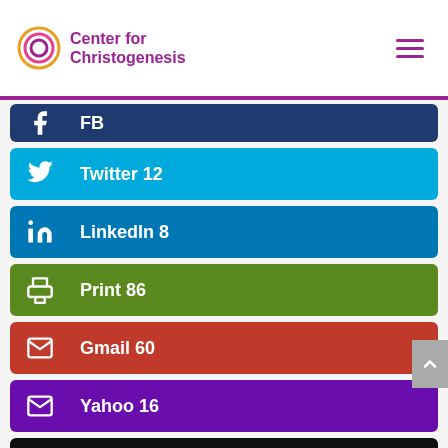Center for Christogenesis
FB
Twitter  12
LinkedIn  8
Print  86
Gmail  60
Yahoo  16
AOL  4
Like  27
Evernote  2